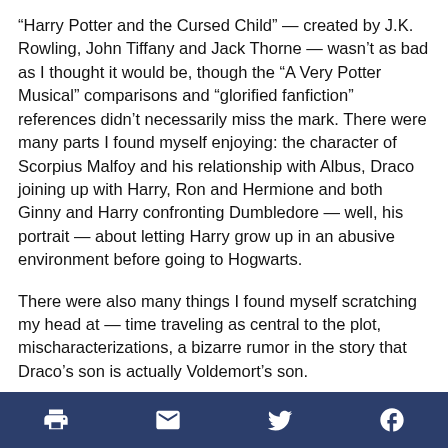“Harry Potter and the Cursed Child” — created by J.K. Rowling, John Tiffany and Jack Thorne — wasn’t as bad as I thought it would be, though the “A Very Potter Musical” comparisons and “glorified fanfiction” references didn’t necessarily miss the mark. There were many parts I found myself enjoying: the character of Scorpius Malfoy and his relationship with Albus, Draco joining up with Harry, Ron and Hermione and both Ginny and Harry confronting Dumbledore — well, his portrait — about letting Harry grow up in an abusive environment before going to Hogwarts.
There were also many things I found myself scratching my head at — time traveling as central to the plot, mischaracterizations, a bizarre rumor in the story that Draco’s son is actually Voldemort’s son.
[print] [email] [twitter] [facebook]